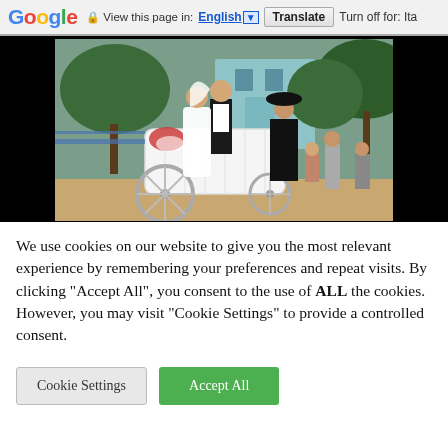Google  View this page in: English [▼]  Translate  Turn off for: Ita
[Figure (photo): Wedding photo: bride in white dress and groom in suit standing next to a white horse-drawn carriage. A coachman in black hat is at the carriage. Outdoor setting with trees and buildings in background.]
We use cookies on our website to give you the most relevant experience by remembering your preferences and repeat visits. By clicking "Accept All", you consent to the use of ALL the cookies. However, you may visit "Cookie Settings" to provide a controlled consent.
Cookie Settings  Accept All